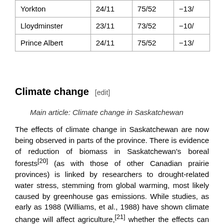| Yorkton | 24/11 | 75/52 | −13/ |
| Lloydminster | 23/11 | 73/52 | −10/ |
| Prince Albert | 24/11 | 75/52 | −13/ |
Climate change [edit]
Main article: Climate change in Saskatchewan
The effects of climate change in Saskatchewan are now being observed in parts of the province. There is evidence of reduction of biomass in Saskatchewan's boreal forests[20] (as with those of other Canadian prairie provinces) is linked by researchers to drought-related water stress, stemming from global warming, most likely caused by greenhouse gas emissions. While studies, as early as 1988 (Williams, et al., 1988) have shown climate change will affect agriculture,[21] whether the effects can be mitigated through adaptations of cultivars, or crops, is less clear. Resiliency of ecosystems may decline with large changes in temperature.[22] The provincial government has responded to the threat of climate change by introducing a plan to reduce carbon emissions. "The